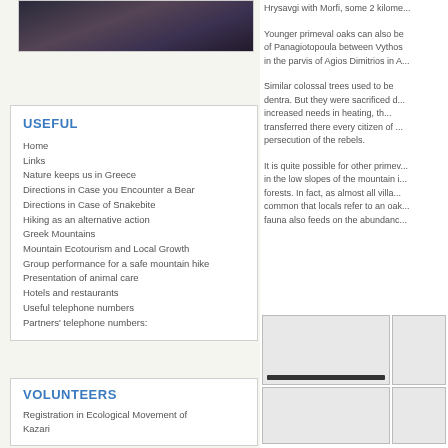[Figure (photo): Partial view of a dark rocky/forest photo at top left]
USEFUL
Home
Links
Nature keeps us in Greece
Directions in Case you Encounter a Bear
Directions in Case of Snakebite
Hiking as an alternative action
Greek Mountains
Mountain Ecotourism and Local Growth
Group performance for a safe mountain hike
Presentation of animal care
Hotels and restaurants
Useful telephone numbers
Partners' telephone numbers:
VOLUNTEERS
Registration in Ecological Movement of Kazari
Hrysavgi with Morfi, some 2 kilome...
Younger primeval oaks can also be found of Panagiotopoula between Vythos... in the parvis of Agios Dimitrios in A...
Similar colossal trees used to be... dentra. But they were sacrificed d... increased needs in heating, th... transferred there every citizen of ... persecution of the rebels.
It is quite possible for other primev... in the low slopes of the mountain i... forests. In fact, as almost all villa... common that locals refer to an oak... fauna also feeds on the abundanc...
[Figure (photo): Small thumbnail photo top-left of grid]
[Figure (photo): Small thumbnail photo top-right of grid]
[Figure (photo): Small thumbnail photo bottom-left of grid]
[Figure (photo): Small thumbnail photo bottom-right of grid]